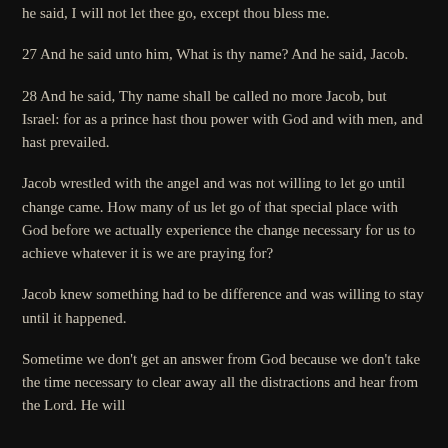he said, I will not let thee go, except thou bless me.
27 And he said unto him, What is thy name? And he said, Jacob.
28 And he said, Thy name shall be called no more Jacob, but Israel: for as a prince hast thou power with God and with men, and hast prevailed.
Jacob wrestled with the angel and was not willing to let go until change came. How many of us let go of that special place with God before we actually experience the change necessary for us to achieve whatever it is we are praying for?
Jacob knew something had to be difference and was willing to stay until it happened.
Sometime we don't get an answer from God because we don't take the time necessary to clear away all the distractions and hear from the Lord. He will